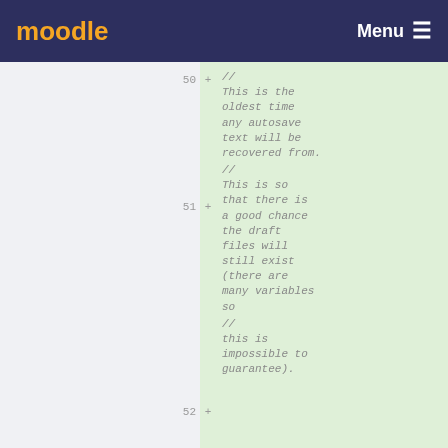moodle Menu
50 + //
This is the oldest time any autosave text will be recovered from.
51 + //
This is so that there is a good chance the draft files will still exist (there are many variables so
52 + //
this is impossible to guarantee).